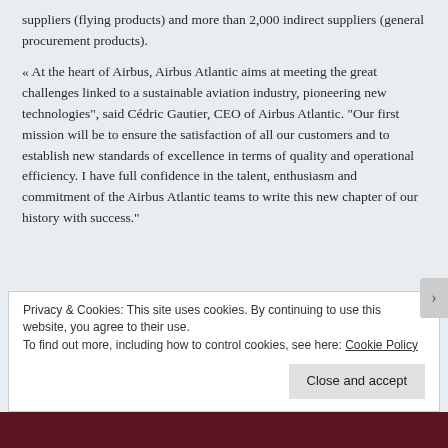suppliers (flying products) and more than 2,000 indirect suppliers (general procurement products).
« At the heart of Airbus, Airbus Atlantic aims at meeting the great challenges linked to a sustainable aviation industry, pioneering new technologies", said Cédric Gautier, CEO of Airbus Atlantic. "Our first mission will be to ensure the satisfaction of all our customers and to establish new standards of excellence in terms of quality and operational efficiency. I have full confidence in the talent, enthusiasm and commitment of the Airbus Atlantic teams to write this new chapter of our history with success."
Privacy & Cookies: This site uses cookies. By continuing to use this website, you agree to their use.
To find out more, including how to control cookies, see here: Cookie Policy
Close and accept